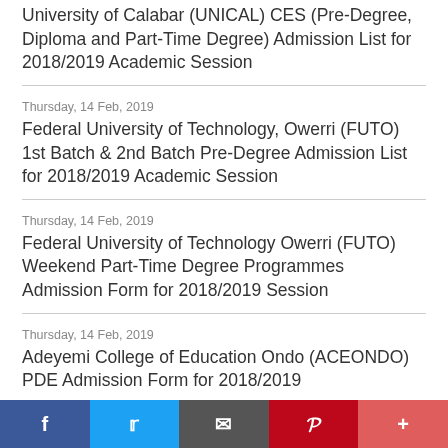University of Calabar (UNICAL) CES (Pre-Degree, Diploma and Part-Time Degree) Admission List for 2018/2019 Academic Session
Thursday, 14 Feb, 2019
Federal University of Technology, Owerri (FUTO) 1st Batch & 2nd Batch Pre-Degree Admission List for 2018/2019 Academic Session
Thursday, 14 Feb, 2019
Federal University of Technology Owerri (FUTO) Weekend Part-Time Degree Programmes Admission Form for 2018/2019 Session
Thursday, 14 Feb, 2019
Adeyemi College of Education Ondo (ACEONDO) PDE Admission Form for 2018/2019